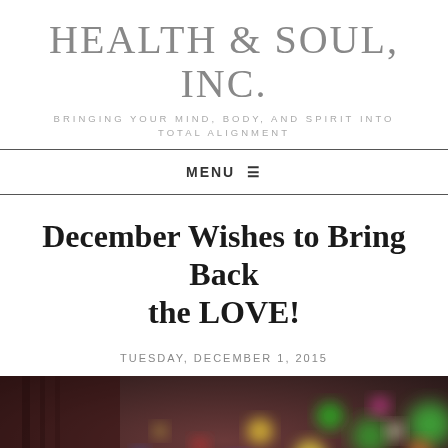HEALTH & SOUL, INC.
BRINGING YOUR MIND, BODY, AND SPIRIT INTO TOTAL ALIGNMENT
MENU ≡
December Wishes to Bring Back the LOVE!
TUESDAY, DECEMBER 1, 2015
[Figure (photo): Blurred bokeh photo of a Christmas tree with colorful lights against a dark reddish-brown background]